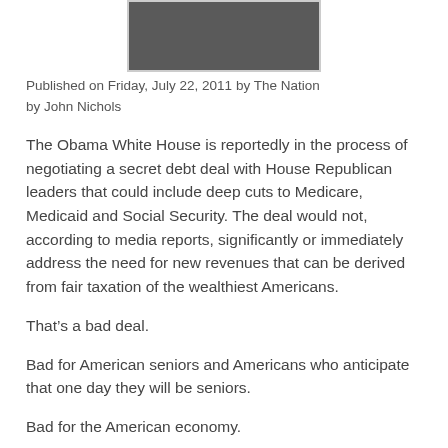[Figure (photo): Partial photo of a person in a dark suit and white shirt, cropped at top of frame]
Published on Friday, July 22, 2011 by The Nation
by John Nichols
The Obama White House is reportedly in the process of negotiating a secret debt deal with House Republican leaders that could include deep cuts to Medicare, Medicaid and Social Security. The deal would not, according to media reports, significantly or immediately address the need for new revenues that can be derived from fair taxation of the wealthiest Americans.
That’s a bad deal.
Bad for American seniors and Americans who anticipate that one day they will be seniors.
Bad for the American economy.
And bad for Barack Obama politically.